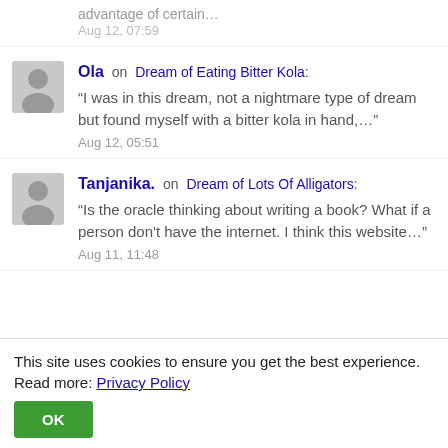advantage of certain…
Aug 12, 07:59
Ola on Dream of Eating Bitter Kola: "I was in this dream, not a nightmare type of dream but found myself with a bitter kola in hand,…"
Aug 12, 05:51
Tanjanika. on Dream of Lots Of Alligators: "Is the oracle thinking about writing a book? What if a person don't have the internet. I think this website…"
Aug 11, 11:48
This site uses cookies to ensure you get the best experience. Read more: Privacy Policy
OK